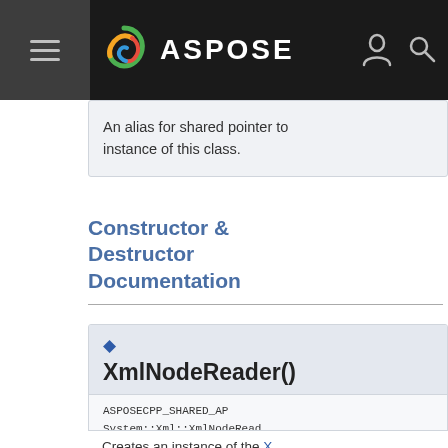ASPOSE
An alias for shared pointer to instance of this class.
Constructor & Destructor Documentation
XmlNodeReader()
ASPOSECPP_SHARED_AP System::Xml::XmlNodeRead
Creates an instance of the X